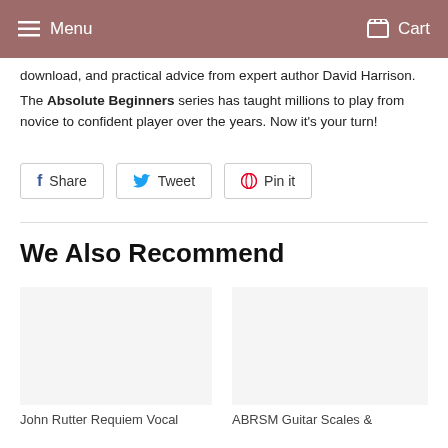Menu  Cart
download, and practical advice from expert author David Harrison. The Absolute Beginners series has taught millions to play from novice to confident player over the years. Now it's your turn!
[Figure (infographic): Social sharing buttons: Share (Facebook), Tweet (Twitter), Pin it (Pinterest)]
We Also Recommend
[Figure (photo): Product image placeholder for John Rutter Requiem Vocal]
John Rutter Requiem Vocal
[Figure (photo): Product image placeholder for ABRSM Guitar Scales &]
ABRSM Guitar Scales &